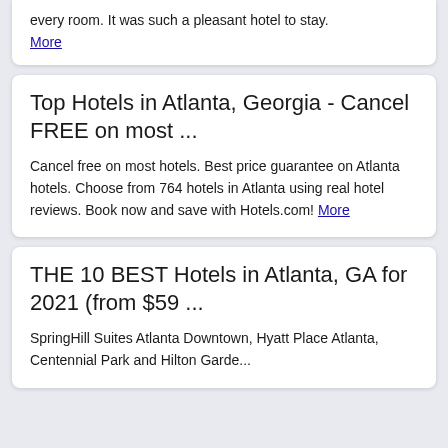every room. It was such a pleasant hotel to stay. More
Top Hotels in Atlanta, Georgia - Cancel FREE on most ...
Cancel free on most hotels. Best price guarantee on Atlanta hotels. Choose from 764 hotels in Atlanta using real hotel reviews. Book now and save with Hotels.com! More
THE 10 BEST Hotels in Atlanta, GA for 2021 (from $59 ...
SpringHill Suites Atlanta Downtown, Hyatt Place Atlanta, Centennial Park and Hilton Garden...